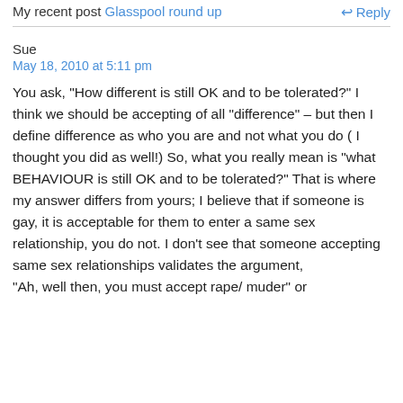My recent post Glasspool round up
Reply
Sue
May 18, 2010 at 5:11 pm
You ask, "How different is still OK and to be tolerated?" I think we should be accepting of all "difference" – but then I define difference as who you are and not what you do ( I thought you did as well!) So, what you really mean is "what BEHAVIOUR is still OK and to be tolerated?" That is where my answer differs from yours; I believe that if someone is gay, it is acceptable for them to enter a same sex relationship, you do not. I don't see that someone accepting same sex relationships validates the argument, "Ah, well then, you must accept rape/ muder" or